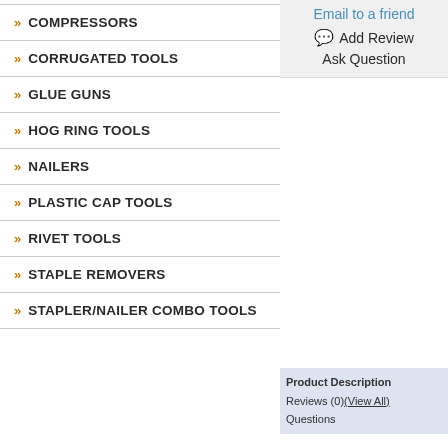» COMPRESSORS
» CORRUGATED TOOLS
» GLUE GUNS
» HOG RING TOOLS
» NAILERS
» PLASTIC CAP TOOLS
» RIVET TOOLS
» STAPLE REMOVERS
» STAPLER/NAILER COMBO TOOLS
Email to a friend
Add Review
Ask Question
Product Description
Reviews (0)(View All)
Questions
Product Description
Compact tool for application requi
Made in Germany
full-metal body and magaz